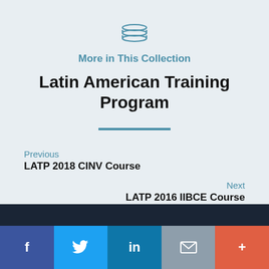[Figure (logo): Stacked layers icon in teal/steel blue]
More in This Collection
Latin American Training Program
Previous
LATP 2018 CINV Course
Next
LATP 2016 IIBCE Course
f  (Twitter bird)  in  (mail icon)  +